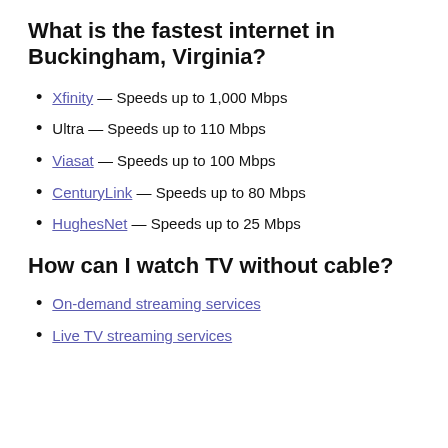What is the fastest internet in Buckingham, Virginia?
Xfinity — Speeds up to 1,000 Mbps
Ultra — Speeds up to 110 Mbps
Viasat — Speeds up to 100 Mbps
CenturyLink — Speeds up to 80 Mbps
HughesNet — Speeds up to 25 Mbps
How can I watch TV without cable?
On-demand streaming services
Live TV streaming services